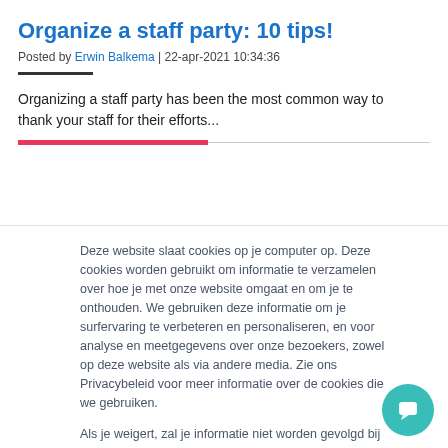Organize a staff party: 10 tips!
Posted by Erwin Balkema | 22-apr-2021 10:34:36
Organizing a staff party has been the most common way to thank your staff for their efforts...
Deze website slaat cookies op je computer op. Deze cookies worden gebruikt om informatie te verzamelen over hoe je met onze website omgaat en om je te onthouden. We gebruiken deze informatie om je surfervaring te verbeteren en personaliseren, en voor analyse en meetgegevens over onze bezoekers, zowel op deze website als via andere media. Zie ons Privacybeleid voor meer informatie over de cookies die we gebruiken.

Als je weigert, zal je informatie niet worden gevolgd bij je bezoek aan deze website. Er wordt een kleine cookie in je browser geplaatst om te onthouden dat je niet gevolgd wilt worden.
Accepteren
Weigeren